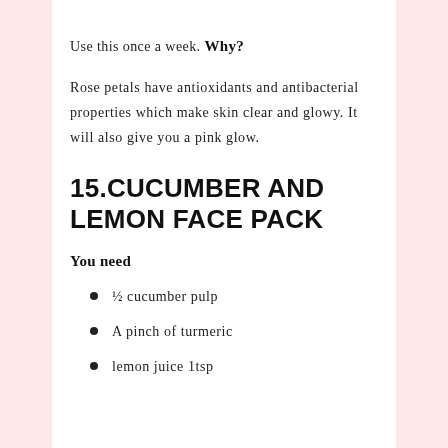Use this once a week.
Why?
Rose petals have antioxidants and antibacterial properties which make skin clear and glowy. It will also give you a pink glow.
15.CUCUMBER AND LEMON FACE PACK
You need
½ cucumber pulp
A pinch of turmeric
lemon juice 1tsp